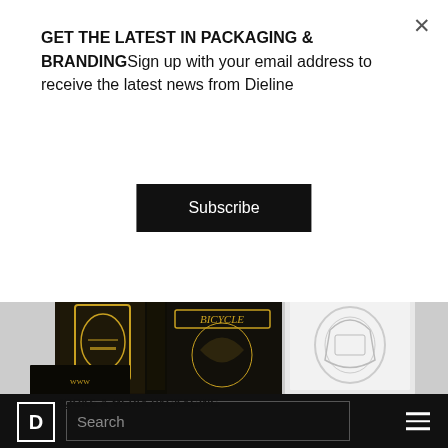GET THE LATEST IN PACKAGING & BRANDINGSign up with your email address to receive the latest news from Dieline
Subscribe
[Figure (photo): Playing card boxes packaging by Bicycle — dark ornate gold design boxes and a white embossed box arranged together]
BOOKS & MEDIA PACKAGING
D  Search  ≡